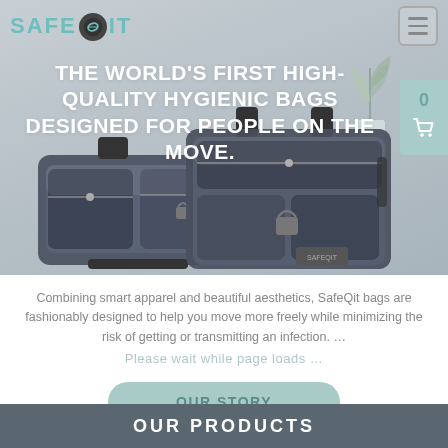[Figure (screenshot): SafeQit website hero section showing logo, navigation hamburger menu, headline text, two hygienic bags (a belt bag and a crossbody bag), a cart badge with 0 count, and a decorative plant.]
THE WORLD'S FIRST HIGH-QUALITY HYGIENIC BAGS DESIGNED FOR PEOPLE ON THE MOVE.
Combining smart apparel and beautiful aesthetics, SafeQit bags are fashionably designed to help you move more freely while minimizing the risk of getting or transmitting an infection. ...
Please wait while page loads ...
OUR STORY
OUR PRODUCTS